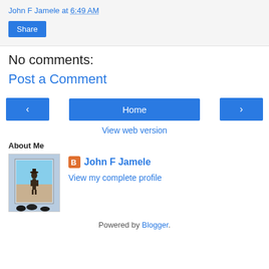John F Jamele at 6:49 AM
Share
No comments:
Post a Comment
‹  Home  ›
View web version
About Me
John F Jamele
View my complete profile
Powered by Blogger.